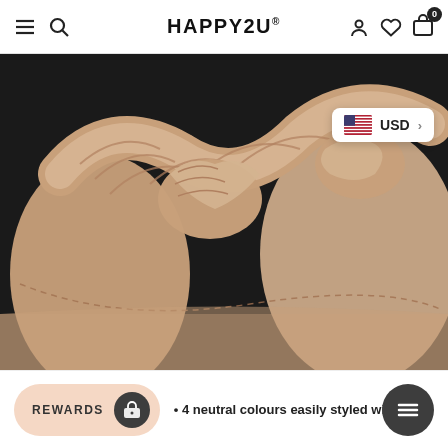HAPPY2U — navigation bar with menu, search, account, wishlist, and cart (0 items)
[Figure (photo): Close-up product photo of a beige/nude leather bag with ruched/gathered strap details against a dark background.]
USD >
REWARDS
4 neutral colours easily styled with various outfits.